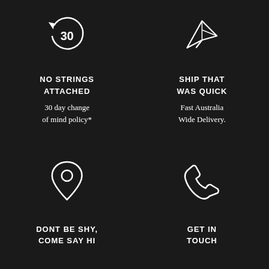[Figure (illustration): 30-day return icon: circular arrow with '30' inside]
NO STRINGS ATTACHED
30 day change of mind policy*
[Figure (illustration): Paper airplane icon]
SHIP THAT WAS QUICK
Fast Australia Wide Delivery.
[Figure (illustration): Map pin / location marker icon]
DONT BE SHY, COME SAY HI
[Figure (illustration): Phone/telephone icon]
GET IN TOUCH